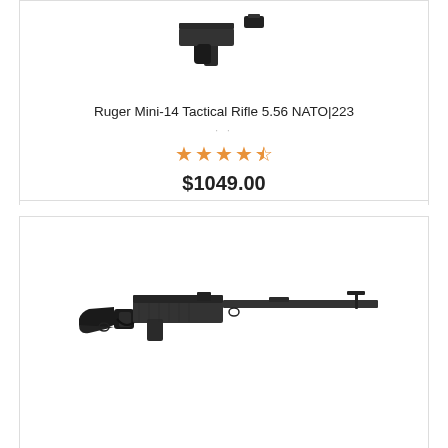[Figure (photo): Partial view of a Ruger Mini-14 Tactical Rifle with black tactical stock and grip, top portion of product card]
Ruger Mini-14 Tactical Rifle 5.56 NATO|223
··
★★★★☆ (4 out of 5 stars rating)
$1049.00
[Figure (photo): Springfield Armory M1A style semi-automatic rifle with black synthetic stock, shown in profile view]